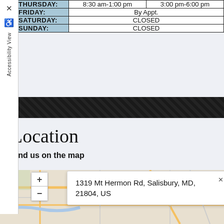| Day | Hours (AM) | Hours (PM) |
| --- | --- | --- |
| THURSDAY: | 8:30 am-1:00 pm | 3:00 pm-6:00 pm |
| FRIDAY: | By Appt. |  |
| SATURDAY: | CLOSED |  |
| SUNDAY: | CLOSED |  |
Location
Find us on the map
[Figure (map): Map showing location at 1319 Mt Hermon Rd, Salisbury, MD, 21804, US with zoom controls and address popup]